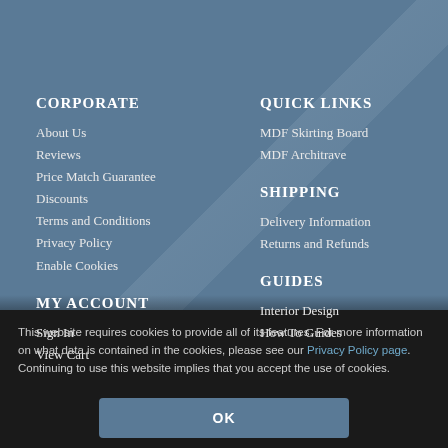CORPORATE
About Us
Reviews
Price Match Guarantee
Discounts
Terms and Conditions
Privacy Policy
Enable Cookies
MY ACCOUNT
Sign In
View Cart
QUICK LINKS
MDF Skirting Board
MDF Architrave
SHIPPING
Delivery Information
Returns and Refunds
GUIDES
Interior Design
How To Guides
This website requires cookies to provide all of its features. For more information on what data is contained in the cookies, please see our Privacy Policy page. Continuing to use this website implies that you accept the use of cookies.
OK